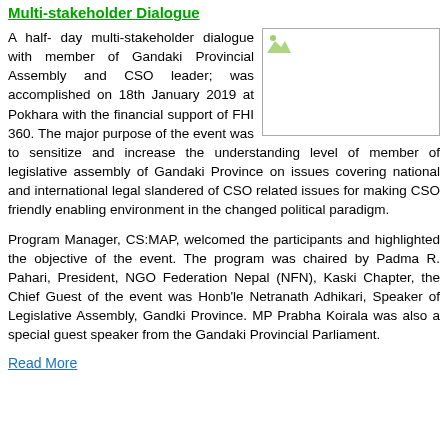Multi-stakeholder Dialogue
[Figure (photo): A small broken/missing image placeholder in the upper right portion of the article, showing a green icon for a missing image.]
A half- day multi-stakeholder dialogue with member of Gandaki Provincial Assembly and CSO leader; was accomplished on 18th January 2019 at Pokhara with the financial support of FHI 360. The major purpose of the event was to sensitize and increase the understanding level of member of legislative assembly of Gandaki Province on issues covering national and international legal slandered of CSO related issues for making CSO friendly enabling environment in the changed political paradigm.
Program Manager, CS:MAP, welcomed the participants and highlighted the objective of the event. The program was chaired by Padma R. Pahari, President, NGO Federation Nepal (NFN), Kaski Chapter, the Chief Guest of the event was Honb'le Netranath Adhikari, Speaker of Legislative Assembly, Gandki Province. MP Prabha Koirala was also a special guest speaker from the Gandaki Provincial Parliament.
Read More